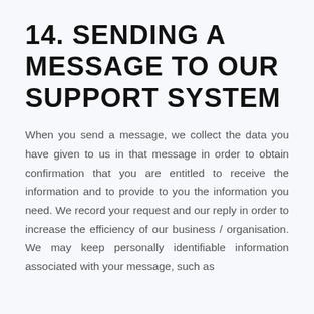14. SENDING A MESSAGE TO OUR SUPPORT SYSTEM
When you send a message, we collect the data you have given to us in that message in order to obtain confirmation that you are entitled to receive the information and to provide to you the information you need. We record your request and our reply in order to increase the efficiency of our business / organisation. We may keep personally identifiable information associated with your message, such as